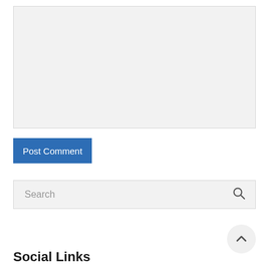[Figure (screenshot): A large textarea input box with light grey background and dashed resize handle in bottom-right corner]
Post Comment
[Figure (screenshot): A search input box with placeholder text 'Search' and a magnifying glass icon on the right]
[Figure (screenshot): A circular back-to-top button with an upward chevron arrow]
Social Links